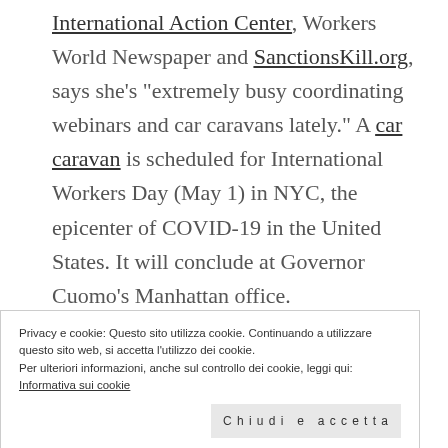International Action Center, Workers World Newspaper and SanctionsKill.org, says she's "extremely busy coordinating webinars and car caravans lately." A car caravan is scheduled for International Workers Day (May 1) in NYC, the epicenter of COVID-19 in the United States. It will conclude at Governor Cuomo's Manhattan office.
Annunci
[Figure (other): Blue advertisement/banner placeholder rectangle]
Privacy e cookie: Questo sito utilizza cookie. Continuando a utilizzare questo sito web, si accetta l'utilizzo dei cookie.
Per ulteriori informazioni, anche sul controllo dei cookie, leggi qui:
Informativa sui cookie
Chiudi e accetta